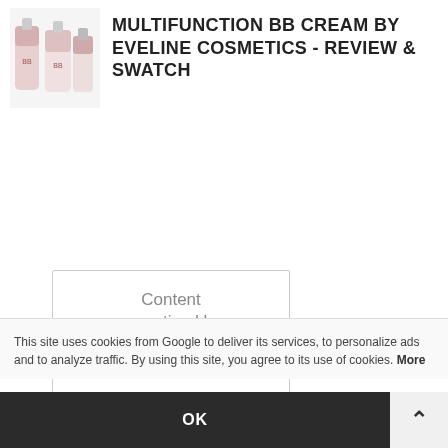[Figure (photo): Product photo of Eveline BB Cream bottles (pink and white cosmetic tubes)]
MULTIFUNCTION BB CREAM BY EVELINE COSMETICS - REVIEW & SWATCH
[Figure (logo): Skimlinks content monetization widget with logo and 'Content monetized by SKIMLINKS' text and MORE link]
[Figure (logo): Dealspotr influencer logo: green circle with lightning bolt icon, 'dealspotr influencer' text, dealspotr.com URL]
dealspotr.com
This site uses cookies from Google to deliver its services, to personalize ads and to analyze traffic. By using this site, you agree to its use of cookies. More
OK